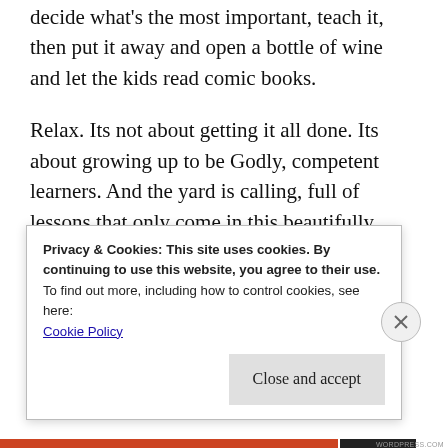decide what's the most important, teach it, then put it away and open a bottle of wine and let the kids read comic books.
Relax. Its not about getting it all done. Its about growing up to be Godly, competent learners. And the yard is calling, full of lessons that only come in this beautifully unique time of year.
Michael Kloss / July 11, 2018 / Current happenings, General remarks, Marriage / Leave a comment
Privacy & Cookies: This site uses cookies. By continuing to use this website, you agree to their use.
To find out more, including how to control cookies, see here: Cookie Policy
Close and accept